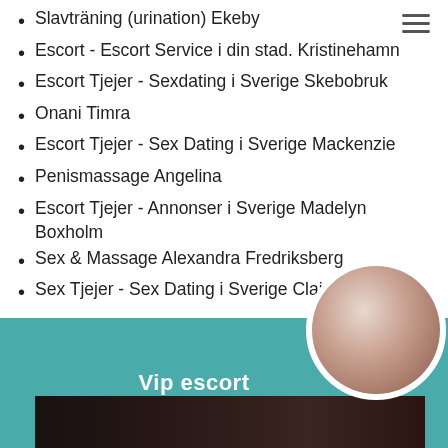Slavträning (urination) Ekeby
Escort - Escort Service i din stad. Kristinehamn
Escort Tjejer - Sexdating i Sverige Skebobruk
Onani Timra
Escort Tjejer - Sex Dating i Sverige Mackenzie
Penismassage Angelina
Escort Tjejer - Annonser i Sverige Madelyn Boxholm
Sex & Massage Alexandra Fredriksberg
Sex Tjejer - Sex Dating i Sverige Claire
[Figure (photo): Teal banner with 'Vip escort' text and circular avatar photo of a dark-haired woman, with a dark photo strip along the bottom]
Vip escort